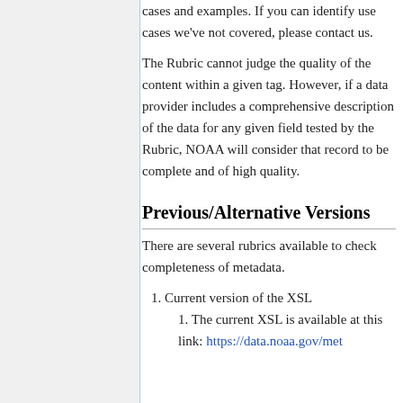cases and examples. If you can identify use cases we've not covered, please contact us.
The Rubric cannot judge the quality of the content within a given tag. However, if a data provider includes a comprehensive description of the data for any given field tested by the Rubric, NOAA will consider that record to be complete and of high quality.
Previous/Alternative Versions
There are several rubrics available to check completeness of metadata.
1. Current version of the XSL
1. The current XSL is available at this link: https://data.noaa.gov/met...